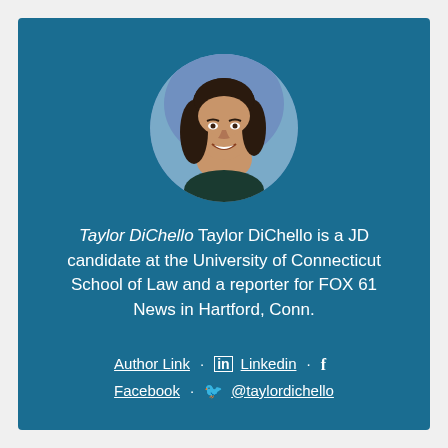[Figure (photo): Circular headshot photo of Taylor DiChello, a woman with long dark hair, smiling, wearing a dark top against a blue/purple background]
Taylor DiChello Taylor DiChello is a JD candidate at the University of Connecticut School of Law and a reporter for FOX 61 News in Hartford, Conn.
Author Link · in Linkedin · f Facebook · @taylordichello